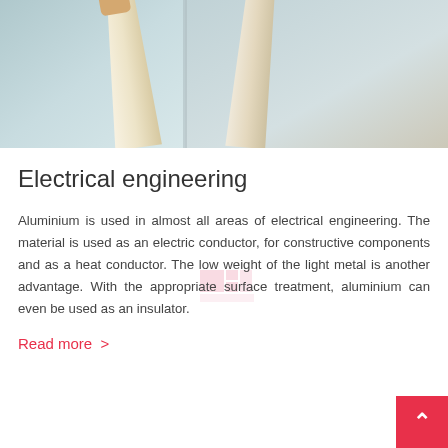[Figure (photo): Close-up photograph of wind turbine blades against a pale blue-grey sky, showing two large white/cream coloured blades at an angle]
Electrical engineering
Aluminium is used in almost all areas of electrical engineering. The material is used as an electric conductor, for constructive components and as a heat conductor. The low weight of the light metal is another advantage. With the appropriate surface treatment, aluminium can even be used as an insulator.
Read more >